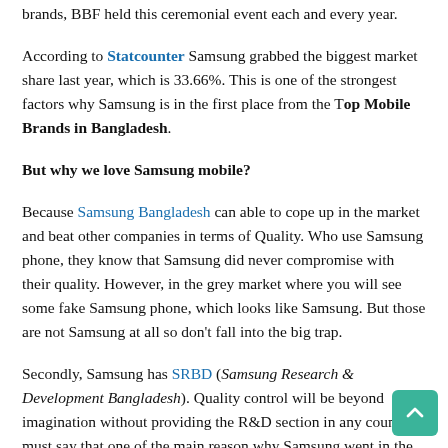brands, BBF held this ceremonial event each and every year.
According to Statcounter Samsung grabbed the biggest market share last year, which is 33.66%. This is one of the strongest factors why Samsung is in the first place from the Top Mobile Brands in Bangladesh.
But why we love Samsung mobile?
Because Samsung Bangladesh can able to cope up in the market and beat other companies in terms of Quality. Who use Samsung phone, they know that Samsung did never compromise with their quality. However, in the grey market where you will see some fake Samsung phone, which looks like Samsung. But those are not Samsung at all so don't fall into the big trap.
Secondly, Samsung has SRBD (Samsung Research & Development Bangladesh). Quality control will be beyond imagination without providing the R&D section in any country. I must say that one of the main reason why Samsung went in the top position is just because of settling up the SRBD in 2010. So it clearly shows how Samsung